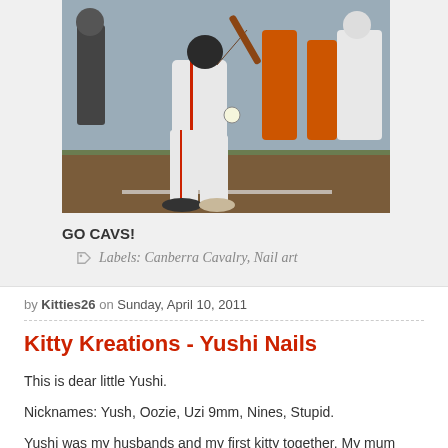[Figure (photo): Baseball player mid-swing at bat, wearing white uniform with red pinstripe, at home plate. Other players visible in background wearing orange. Dirt infield, grass outfield.]
GO CAVS!
Labels: Canberra Cavalry, Nail art
by Kitties26 on Sunday, April 10, 2011
Kitty Kreations - Yushi Nails
This is dear little Yushi.
Nicknames: Yush, Oozie, Uzi 9mm, Nines, Stupid.
Yushi was my husbands and my first kitty together.  My mum found her